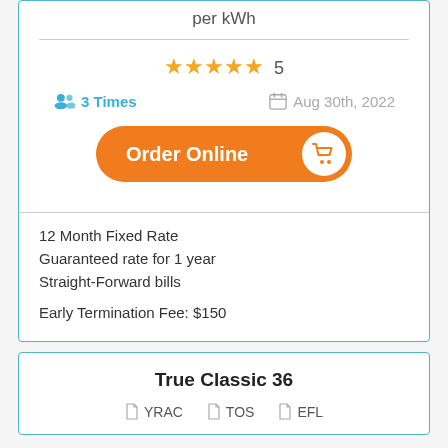per kWh
★★★★★ 5
3 Times  Aug 30th, 2022
Order Online
12 Month Fixed Rate
Guaranteed rate for 1 year
Straight-Forward bills
Early Termination Fee: $150
True Classic 36
YRAC  TOS  EFL